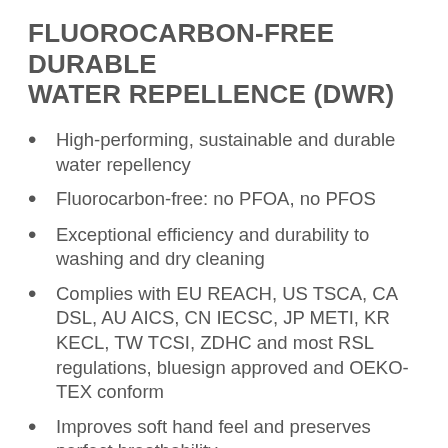FLUOROCARBON-FREE DURABLE WATER REPELLENCE (DWR)
High-performing, sustainable and durable water repellency
Fluorocarbon-free: no PFOA, no PFOS
Exceptional efficiency and durability to washing and dry cleaning
Complies with EU REACH, US TSCA, CA DSL, AU AICS, CN IECSC, JP METI, KR KECL, TW TCSI, ZDHC and most RSL regulations, bluesign approved and OEKO-TEX conform
Improves soft hand feel and preserves perfect breathability
High abrasion resistance
Applicable to all fiber types, from cellulosics, synthetics and blends to leather and blends